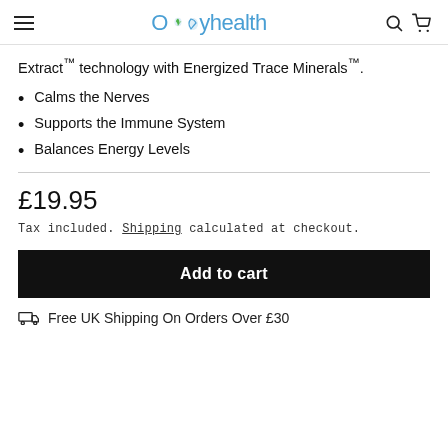OXyhealth
Extract™ technology with Energized Trace Minerals™.
Calms the Nerves
Supports the Immune System
Balances Energy Levels
£19.95
Tax included. Shipping calculated at checkout.
Add to cart
Free UK Shipping On Orders Over £30